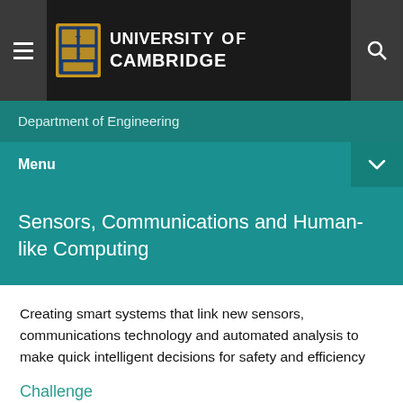[Figure (logo): University of Cambridge logo and navigation bar with hamburger menu and search icon]
Department of Engineering
Menu
Sensors, Communications and Human-like Computing
Creating smart systems that link new sensors, communications technology and automated analysis to make quick intelligent decisions for safety and efficiency
Challenge
Engineers are fighting to find new techniques to grapple with every more data sets that suffer from a